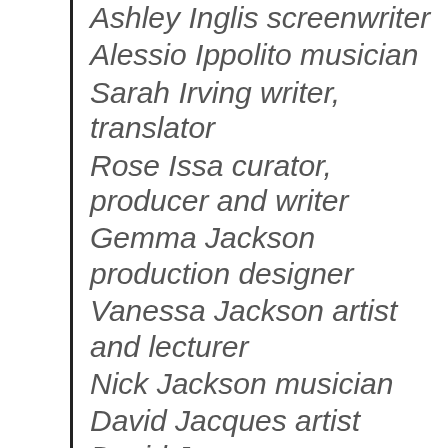Ashley Inglis screenwriter
Alessio Ippolito musician
Sarah Irving writer, translator
Rose Issa curator, producer and writer
Gemma Jackson production designer
Vanessa Jackson artist and lecturer
Nick Jackson musician
David Jacques artist David Jacques
Peter Jaeger poet